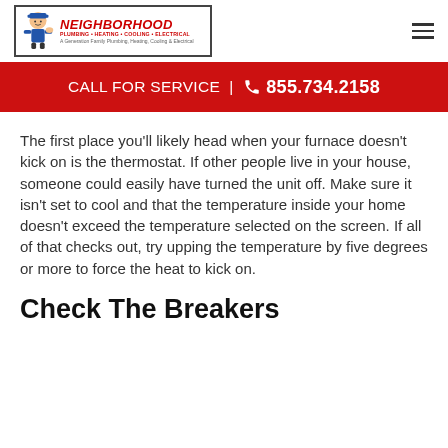[Figure (logo): Neighborhood Plumbing Heating Cooling Electrical logo with mascot character]
CALL FOR SERVICE | 855.734.2158
The first place you'll likely head when your furnace doesn't kick on is the thermostat. If other people live in your house, someone could easily have turned the unit off. Make sure it isn't set to cool and that the temperature inside your home doesn't exceed the temperature selected on the screen. If all of that checks out, try upping the temperature by five degrees or more to force the heat to kick on.
Check The Breakers